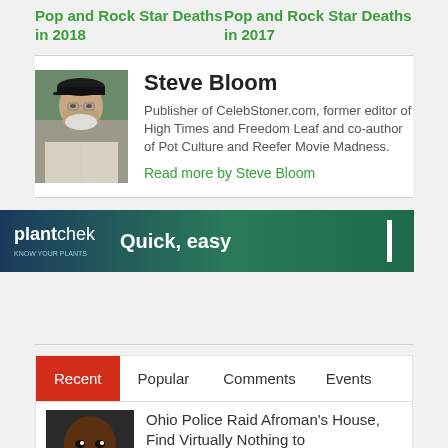Pop and Rock Star Deaths in 2018
Pop and Rock Star Deaths in 2017
Steve Bloom
Publisher of CelebStoner.com, former editor of High Times and Freedom Leaf and co-author of Pot Culture and Reefer Movie Madness.
Read more by Steve Bloom
[Figure (photo): Advertisement banner for plantchek with tagline Quick, easy]
Recent  Popular  Comments  Events
Ohio Police Raid Afroman's House, Find Virtually Nothing to
[Figure (photo): Thumbnail photo of Afroman smiling]